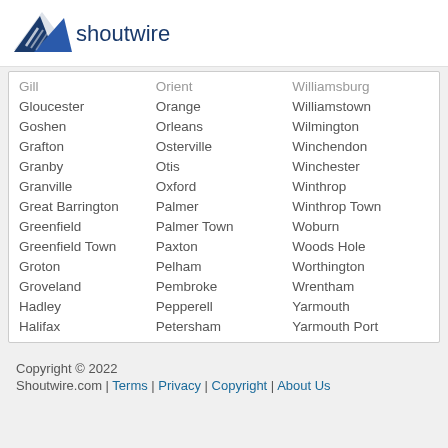[Figure (logo): Shoutwire logo with blue bird/wing icon and text 'shoutwire']
Gill | Orient | Williamsburg
Gloucester | Orange | Williamstown
Goshen | Orleans | Wilmington
Grafton | Osterville | Winchendon
Granby | Otis | Winchester
Granville | Oxford | Winthrop
Great Barrington | Palmer | Winthrop Town
Greenfield | Palmer Town | Woburn
Greenfield Town | Paxton | Woods Hole
Groton | Pelham | Worthington
Groveland | Pembroke | Wrentham
Hadley | Pepperell | Yarmouth
Halifax | Petersham | Yarmouth Port
Copyright © 2022 Shoutwire.com | Terms | Privacy | Copyright | About Us